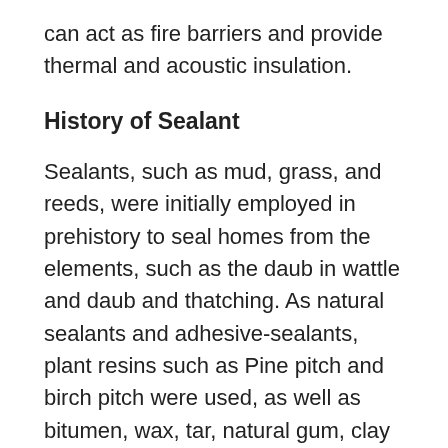can act as fire barriers and provide thermal and acoustic insulation.
History of Sealant
Sealants, such as mud, grass, and reeds, were initially employed in prehistory to seal homes from the elements, such as the daub in wattle and daub and thatching. As natural sealants and adhesive-sealants, plant resins such as Pine pitch and birch pitch were used, as well as bitumen, wax, tar, natural gum, clay (mud) mortar, lime mortar, lead, blood, and egg. In the 17th century, glazing putty was initially used to coat window glass made